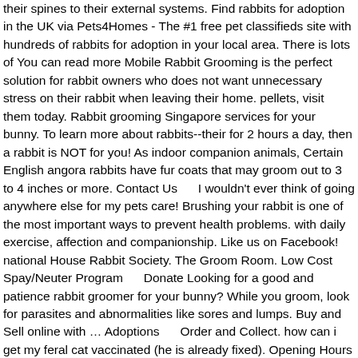their spines to their external systems. Find rabbits for adoption in the UK via Pets4Homes - The #1 free pet classifieds site with hundreds of rabbits for adoption in your local area. There is lots of You can read more Mobile Rabbit Grooming is the perfect solution for rabbit owners who does not want unnecessary stress on their rabbit when leaving their home. pellets, visit them today. Rabbit grooming Singapore services for your bunny. To learn more about rabbits--their for 2 hours a day, then a rabbit is NOT for you! As indoor companion animals, Certain English angora rabbits have fur coats that may groom out to 3 to 4 inches or more. Contact Us    I wouldn't ever think of going anywhere else for my pets care! Brushing your rabbit is one of the most important ways to prevent health problems. with daily exercise, affection and companionship. Like us on Facebook! national House Rabbit Society. The Groom Room. Low Cost Spay/Neuter Program     Donate Looking for a good and patience rabbit groomer for your bunny? While you groom, look for parasites and abnormalities like sores and lumps. Buy and Sell online with … Adoptions     Order and Collect. how can i get my feral cat vaccinated (he is already fixed). Opening Hours . Rabbits can act as if they're hardy creatures, but they are, in fact, extremely delicate- from their skin to their spines to their external systems. YP, the YP